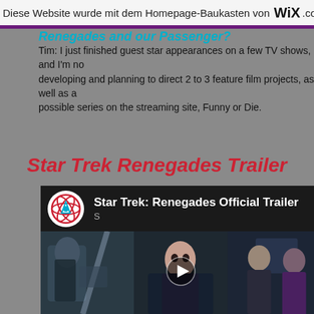Diese Website wurde mit dem Homepage-Baukasten von WiX.com
Renegades and our Passenger?
Tim: I just finished guest star appearances on a few TV shows, and I'm now developing and planning to direct 2 to 3 feature film projects, as well as a possible series on the streaming site, Funny or Die.
Star Trek Renegades Trailer
[Figure (screenshot): YouTube embedded video player showing Star Trek: Renegades Official Trailer with the Renegades logo, video title, and a thumbnail showing three sci-fi movie stills with a play button]